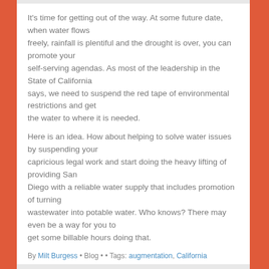It's time for getting out of the way. At some future date, when water flows freely, rainfall is plentiful and the drought is over, you can promote your self-serving agendas. As most of the leadership in the State of California says, we need to suspend the red tape of environmental restrictions and get the water to where it is needed.
Here is an idea. How about helping to solve water issues by suspending your capricious legal work and start doing the heavy lifting of providing San Diego with a reliable water supply that includes promotion of turning wastewater into potable water. Who knows? There may even be a way for you to get some billable hours doing that.
By Milt Burgess • Blog • • Tags: augmentation, California Aqueduct, Colorado River, conservation, dry centuries, El Nino, La Nina, MWD, precipitation, purification, rainfall, State Water Project, water Storage, wet centuries